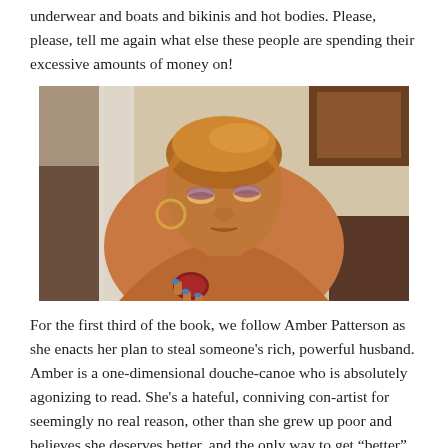underwear and boats and bikinis and hot bodies. Please, please, tell me again what else these people are spending their excessive amounts of money on!
[Figure (photo): A woman with short blonde/auburn hair and purple eyeshadow, holding a red compact mirror, wearing hoop earrings, bare shoulders, seated in front of a light wall with wooden furniture visible.]
For the first third of the book, we follow Amber Patterson as she enacts her plan to steal someone's rich, powerful husband. Amber is a one-dimensional douche-canoe who is absolutely agonizing to read. She's a hateful, conniving con-artist for seemingly no real reason, other than she grew up poor and believes she deserves better, and the only way to get “better” is with butt-loads of money.